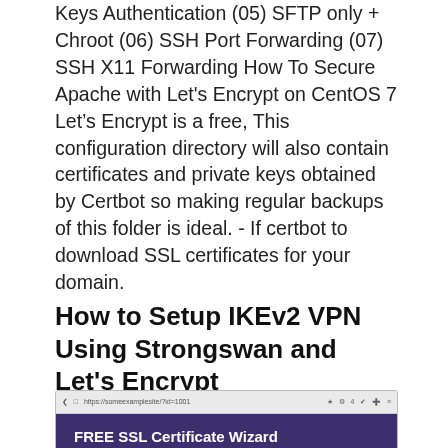Keys Authentication (05) SFTP only + Chroot (06) SSH Port Forwarding (07) SSH X11 Forwarding How To Secure Apache with Let's Encrypt on CentOS 7 Let's Encrypt is a free, This configuration directory will also contain certificates and private keys obtained by Certbot so making regular backups of this folder is ideal. - If certbot to download SSL certificates for your domain.
How to Setup IKEv2 VPN Using Strongswan and Let's Encrypt
[Figure (screenshot): Browser screenshot showing a webpage with a dark purple header containing the text 'FREE SSL Certificate Wizard']